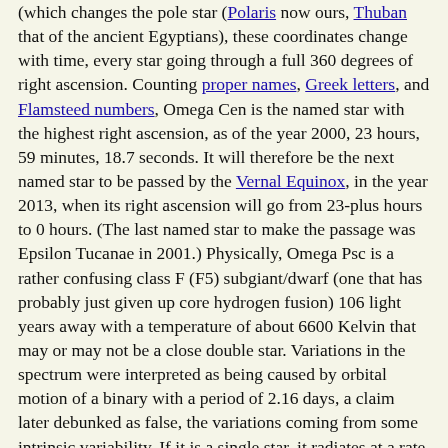(which changes the pole star (Polaris now ours, Thuban that of the ancient Egyptians), these coordinates change with time, every star going through a full 360 degrees of right ascension. Counting proper names, Greek letters, and Flamsteed numbers, Omega Cen is the named star with the highest right ascension, as of the year 2000, 23 hours, 59 minutes, 18.7 seconds. It will therefore be the next named star to be passed by the Vernal Equinox, in the year 2013, when its right ascension will go from 23-plus hours to 0 hours. (The last named star to make the passage was Epsilon Tucanae in 2001.) Physically, Omega Psc is a rather confusing class F (F5) subgiant/dwarf (one that has probably just given up core hydrogen fusion) 106 light years away with a temperature of about 6600 Kelvin that may or may not be a close double star. Variations in the spectrum were interpreted as being caused by orbital motion of a binary with a period of 2.16 days, a claim later debunked as false, the variations coming from some intrinsic variability. If it is a single star, it radiates at a rate 20 times that of the Sun, the mass 1.8 solar. If double, the mass is less, and the two (if equal) are closer to being subgiants of 1.6 solar masses. Position and transition to the other side of the Equinox aside, if nothing else, Omega Psc illustrates that even modestly-bright naked eye stars are not necessarily all that well understood.
Written by Jim Kaler. Return to STARS.